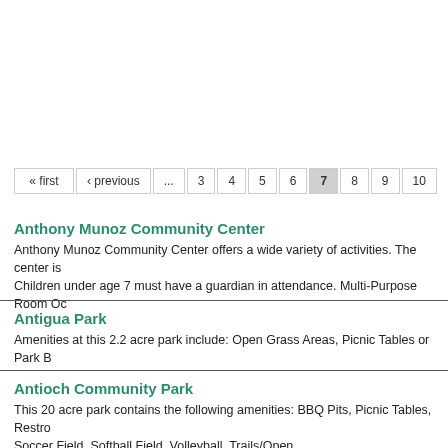« first ‹ previous ... 3 4 5 6 7 8 9 10
Anthony Munoz Community Center
Anthony Munoz Community Center offers a wide variety of activities. The center is Children under age 7 must have a guardian in attendance. Multi-Purpose Room Oc
Antigua Park
Amenities at this 2.2 acre park include: Open Grass Areas, Picnic Tables or Park B
Antioch Community Park
This 20 acre park contains the following amenities: BBQ Pits, Picnic Tables, Restro Soccer Field, Softball Field, Volleyball, Trails/Open ...